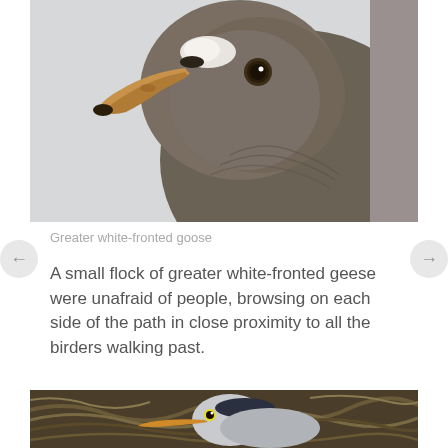[Figure (photo): Close-up photograph of a Greater white-fronted goose head and neck, showing brown/grey plumage, orange beak, and a dark eye, against a pale grey background.]
Greater white-fronted goose
A small flock of greater white-fronted geese were unafraid of people, browsing on each side of the path in close proximity to all the birders walking past.
[Figure (photo): Photograph of a heron or similar large bird nestled in a nest made of twigs and grass, with its head and beak visible.]